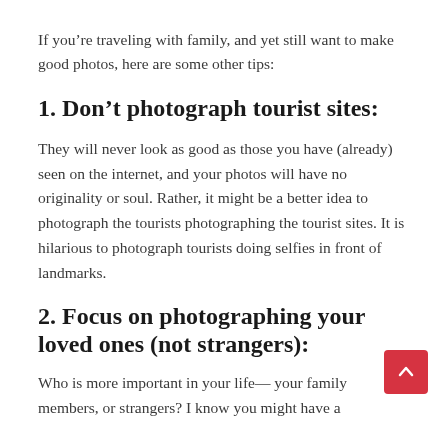If you’re traveling with family, and yet still want to make good photos, here are some other tips:
1. Don’t photograph tourist sites:
They will never look as good as those you have (already) seen on the internet, and your photos will have no originality or soul. Rather, it might be a better idea to photograph the tourists photographing the tourist sites. It is hilarious to photograph tourists doing selfies in front of landmarks.
2. Focus on photographing your loved ones (not strangers):
Who is more important in your life— your family members, or strangers? I know you might have a